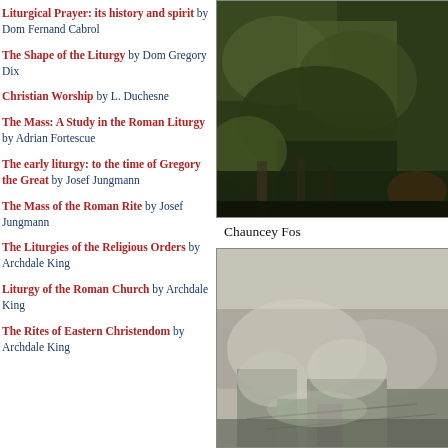Liturgical Prayer: its history and spirit by Dom Fernand Cabrol
The Shape of the Liturgy by Dom Gregory Dix
Christian Worship by L. Duchesne
The Mass: A Study in the Roman Liturgy by Adrian Fortescue
The early liturgy: to the time of Gregory the Great by Josef Jungmann
The Mass of the Roman Rite by Josef Jungmann
The Liturgies of the Religious Orders by Archdale King
Liturgy of the Roman Church by Archdale King
The Rites of Eastern Christendom by Archdale King
[Figure (photo): Dark green landscape painting, close-up of foliage and natural textures]
Chauncey Fos
[Figure (photo): Muted pale painting of rocky or textured natural landscape]